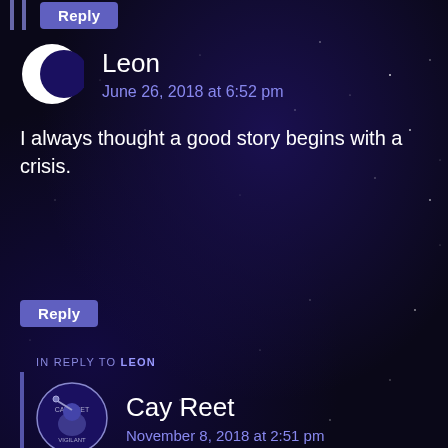[Figure (screenshot): Dark space/night sky background with purple nebula tones]
Leon
June 26, 2018 at 6:52 pm
I always thought a good story begins with a crisis.
Reply
IN REPLY TO LEON
Cay Reet
November 8, 2018 at 2:51 pm
Every good story contains a crisis, but it doesn't